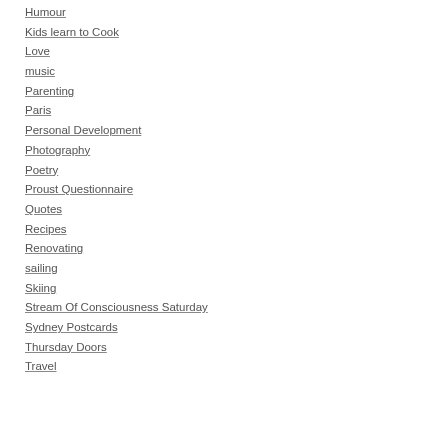Humour
Kids learn to Cook
Love
music
Parenting
Paris
Personal Development
Photography
Poetry
Proust Questionnaire
Quotes
Recipes
Renovating
sailing
Skiing
Stream Of Consciousness Saturday
Sydney Postcards
Thursday Doors
Travel